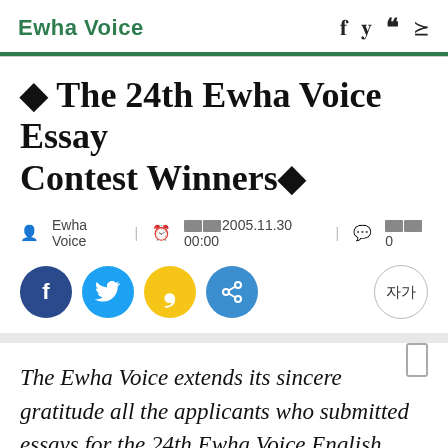Ewha Voice
◆ The 24th Ewha Voice Essay Contest Winners ◆
Ewha Voice | ░░ 2005.11.30 00:00 | ░░ 0
[Figure (other): Social media share buttons: Facebook (dark blue), Twitter (light blue), Quotation (yellow), Share (blue), and font size selector (자가)]
The Ewha Voice extends its sincere gratitude all the applicants who submitted essays for the 24th Ewha Voice English Essay Contest co-